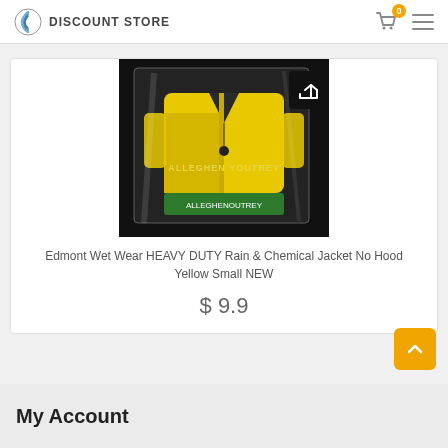DISCOUNT STORE
[Figure (photo): Yellow rain jacket in plastic packaging with green label at bottom, with a share button overlay in top right corner]
Edmont Wet Wear HEAVY DUTY Rain & Chemical Jacket No Hood Yellow Small NEW
$ 9.9
My Account